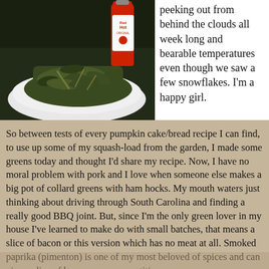[Figure (photo): Photo of cooked collard greens on a white plate with a bottle of Frank's RedHot sauce in the background]
peeking out from behind the clouds all week long and bearable temperatures even though we saw a few snowflakes. I'm a happy girl.
So between tests of every pumpkin cake/bread recipe I can find, to use up some of my squash-load from the garden, I made some greens today and thought I'd share my recipe. Now, I have no moral problem with pork and I love when someone else makes a big pot of collard greens with ham hocks. My mouth waters just thinking about driving through South Carolina and finding a really good BBQ joint. But, since I'm the only green lover in my house I've learned to make do with small batches, that means a slice of bacon or this version which has no meat at all. Smoked paprika (pimenton) is one of my most beloved of spices and can give a slice of bacon some competition.